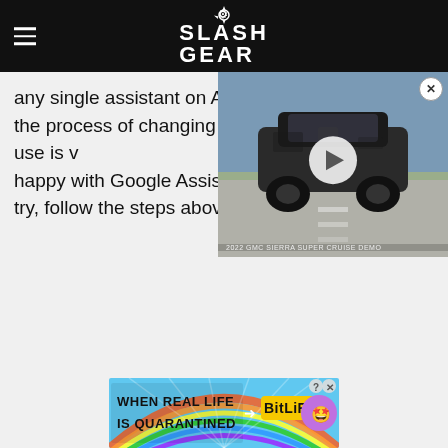SlashGear
any single assistant on Android, and the process of changing the app you use is w... happy with Google Assistant ... try, follow the steps above.
[Figure (screenshot): Video overlay showing a GMC Sierra Super Cruise Demo with a play button, close button, and caption '2022 GMC SIERRA SUPER CRUISE DEMO']
[Figure (infographic): Advertisement banner: 'WHEN REAL LIFE IS QUARANTINED → BitLife' with rainbow background and emoji mascot]